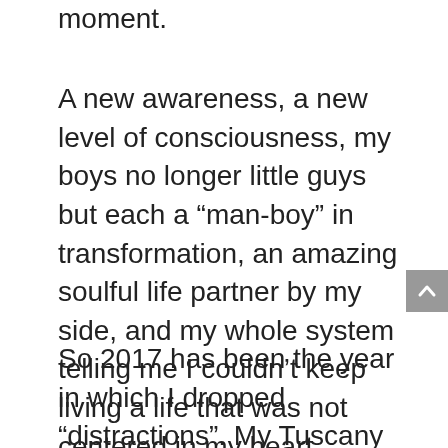moment.
A new awareness, a new level of consciousness, my boys no longer little guys but each a “man-boy” in transformation, an amazing soulful life partner by my side, and my whole system telling me I couldn’t keep living a life that was not centered in my heart.
So 2017 has been the year in which I dropped “distractions”. My Tuscany Real Estate business was sold, and my whole energy and intent was directed into my coaching and